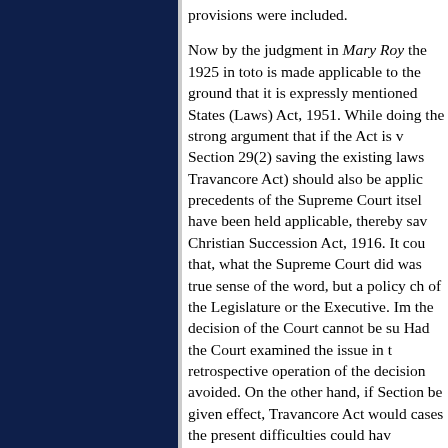provisions were included.

Now by the judgment in Mary Roy the 1925 in toto is made applicable to the ground that it is expressly mentioned States (Laws) Act, 1951. While doing the strong argument that if the Act is v Section 29(2) saving the existing laws Travancore Act) should also be applic precedents of the Supreme Court itsel have been held applicable, thereby sav Christian Succession Act, 1916. It cou that, what the Supreme Court did was true sense of the word, but a policy ch of the Legislature or the Executive. Im the decision of the Court cannot be su Had the Court examined the issue in t retrospective operation of the decision avoided. On the other hand, if Section be given effect, Travancore Act would cases the present difficulties could hav

The decision however had a positive i Christians in Kerala, by and large, we Supreme Court with certain reservatio